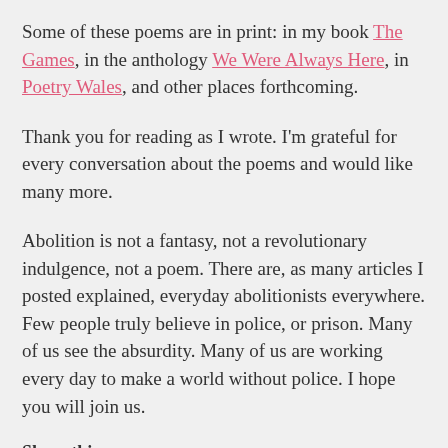Some of these poems are in print: in my book The Games, in the anthology We Were Always Here, in Poetry Wales, and other places forthcoming.
Thank you for reading as I wrote. I'm grateful for every conversation about the poems and would like many more.
Abolition is not a fantasy, not a revolutionary indulgence, not a poem. There are, as many articles I posted explained, everyday abolitionists everywhere. Few people truly believe in police, or prison. Many of us see the absurdity. Many of us are working every day to make a world without police. I hope you will join us.
Share this: